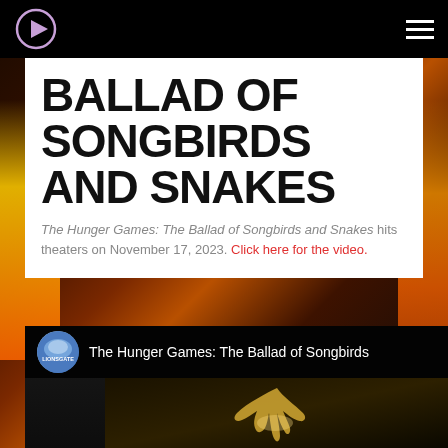BALLAD OF SONGBIRDS AND SNAKES
The Hunger Games: The Ballad of Songbirds and Snakes hits theaters on November 17, 2023. Click here for the video.
[Figure (screenshot): YouTube video thumbnail showing Lionsgate channel with title 'The Hunger Games: The Ballad of Songbirds' and a bird silhouette against a dark golden background]